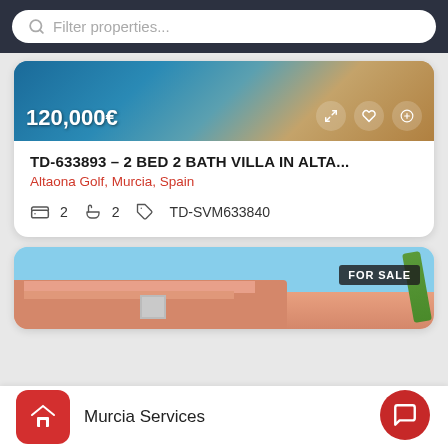[Figure (screenshot): Search bar with placeholder text 'Filter properties...' on dark background]
[Figure (photo): Property listing card image showing blue water and sandy/golden landscape]
120,000€
TD-633893 – 2 BED 2 BATH VILLA IN ALTA...
Altaona Golf, Murcia, Spain
2  2  TD-SVM633840
[Figure (photo): Property listing card image showing pink/terracotta building exterior with blue sky, FOR SALE badge]
Murcia Services